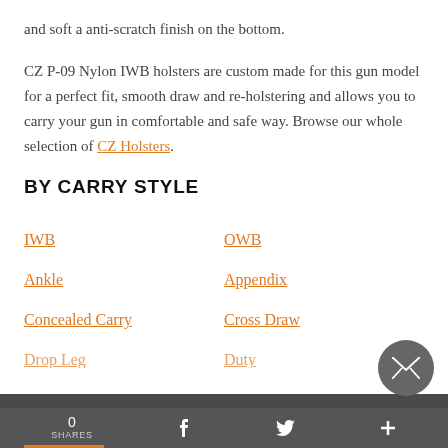and soft a anti-scratch finish on the bottom.
CZ P-09 Nylon IWB holsters are custom made for this gun model for a perfect fit, smooth draw and re-holstering and allows you to carry your gun in comfortable and safe way. Browse our whole selection of CZ Holsters.
BY CARRY STYLE
IWB
OWB
Ankle
Appendix
Concealed Carry
Cross Draw
Drop Leg
Duty
0 SHARES  f  twitter  +